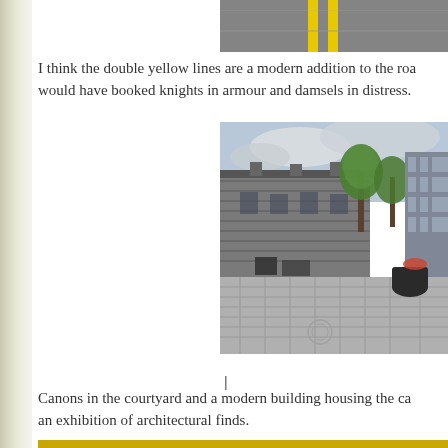[Figure (photo): Top portion of a road with double yellow lines painted on grey asphalt, cropped at top of page]
I think the double yellow lines are a modern addition to the road would have booked knights in armour and damsels in distress.
[Figure (photo): Courtyard of a historic stone building (castle or fort) with a large cobblestone plaza, trees, vehicles, and a modern glass building on the right side, under a cloudy sky]
Canons in the courtyard and a modern building housing the ca an exhibition of architectural finds.